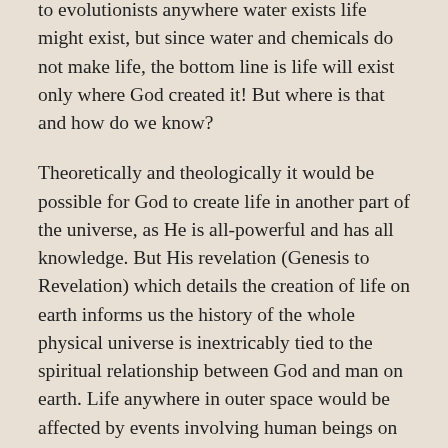to evolutionists anywhere water exists life might exist, but since water and chemicals do not make life, the bottom line is life will exist only where God created it! But where is that and how do we know?
Theoretically and theologically it would be possible for God to create life in another part of the universe, as He is all-powerful and has all knowledge. But His revelation (Genesis to Revelation) which details the creation of life on earth informs us the history of the whole physical universe is inextricably tied to the spiritual relationship between God and man on earth. Life anywhere in outer space would be affected by events involving human beings on Earth.
The Bible tells us God made the sun, moon and stars with the purpose of serving mankind physically and theologically. They were to provide light on the earth, as well as serving as signs and markers for the passage